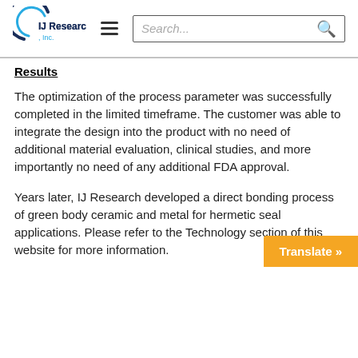[Figure (logo): IJ Research, Inc. logo with circular arc graphic in dark blue and light blue, company name in dark blue and light blue text]
IJ Research, Inc. [navigation header with hamburger menu and search box]
Results
The optimization of the process parameter was successfully completed in the limited timeframe. The customer was able to integrate the design into the product with no need of additional material evaluation, clinical studies, and more importantly no need of any additional FDA approval.
Years later, IJ Research developed a direct bonding process of green body ceramic and metal for hermetic seal applications. Please refer to the Technology section of this website for more information.